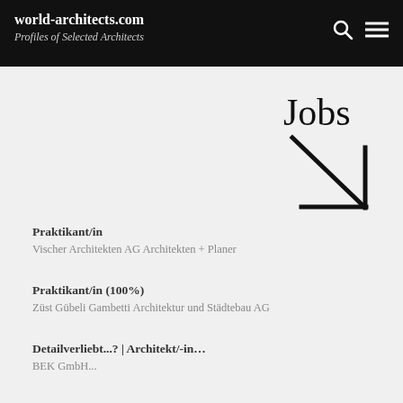world-architects.com
Profiles of Selected Architects
Jobs
Praktikant/in
Vischer Architekten AG Architekten + Planer
Praktikant/in (100%)
Züst Gübeli Gambetti Architektur und Städtebau AG
Detailverliebt...? | Architekt/-in...
BEK GmbH...